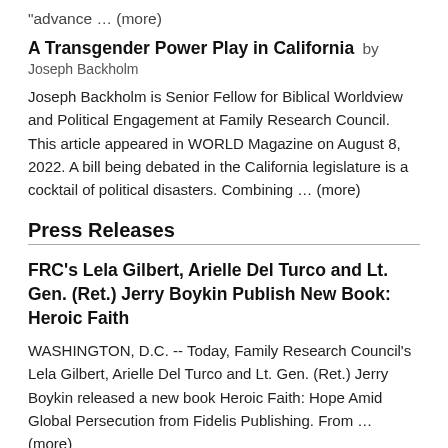"advance … (more)
A Transgender Power Play in California by Joseph Backholm
Joseph Backholm is Senior Fellow for Biblical Worldview and Political Engagement at Family Research Council. This article appeared in WORLD Magazine on August 8, 2022. A bill being debated in the California legislature is a cocktail of political disasters. Combining … (more)
Press Releases
FRC's Lela Gilbert, Arielle Del Turco and Lt. Gen. (Ret.) Jerry Boykin Publish New Book: Heroic Faith
WASHINGTON, D.C. -- Today, Family Research Council's Lela Gilbert, Arielle Del Turco and Lt. Gen. (Ret.) Jerry Boykin released a new book Heroic Faith: Hope Amid Global Persecution from Fidelis Publishing. From … (more)